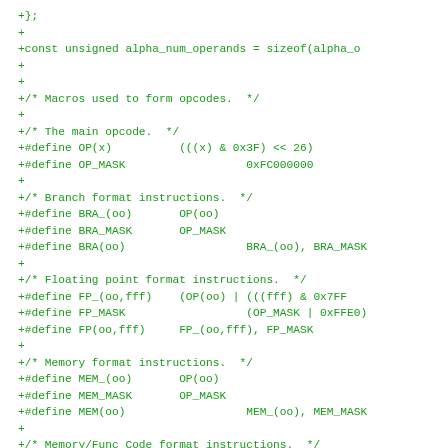+};
+
+const unsigned alpha_num_operands = sizeof(alpha_o
+
+
+/* Macros used to form opcodes.  */
+
+/* The main opcode.  */
+#define OP(x)          (((x) & 0x3F) << 26)
+#define OP_MASK                  0xFC000000
+
+/* Branch format instructions.  */
+#define BRA_(oo)       OP(oo)
+#define BRA_MASK       OP_MASK
+#define BRA(oo)                  BRA_(oo), BRA_MASK
+
+/* Floating point format instructions.  */
+#define FP_(oo,fff)    (OP(oo) | (((fff) & 0x7FF
+#define FP_MASK                  (OP_MASK | 0xFFE0)
+#define FP(oo,fff)     FP_(oo,fff), FP_MASK
+
+/* Memory format instructions.  */
+#define MEM_(oo)       OP(oo)
+#define MEM_MASK       OP_MASK
+#define MEM(oo)                  MEM_(oo), MEM_MASK
+
+/* Memory/Func Code format instructions.  */
+#define MFC_(oo,ffff)  (OP(oo) | ((ffff) & 0xFFFF
+#define MFC_MASK       (OP_MASK | 0xFFFF)
+#define MFC(oo,ffff)   MFC_(oo,ffff), MFC_MASK